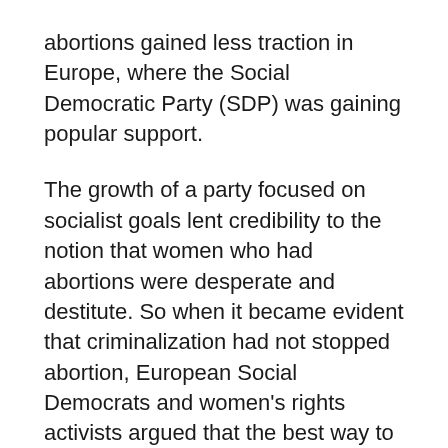abortions gained less traction in Europe, where the Social Democratic Party (SDP) was gaining popular support.
The growth of a party focused on socialist goals lent credibility to the notion that women who had abortions were desperate and destitute. So when it became evident that criminalization had not stopped abortion, European Social Democrats and women's rights activists argued that the best way to solve the abortion problem was to resolve socioeconomic issues.
Meanwhile, the global economic crisis of the 1930s led more married women than ever before to demand (illegally) abortions as…